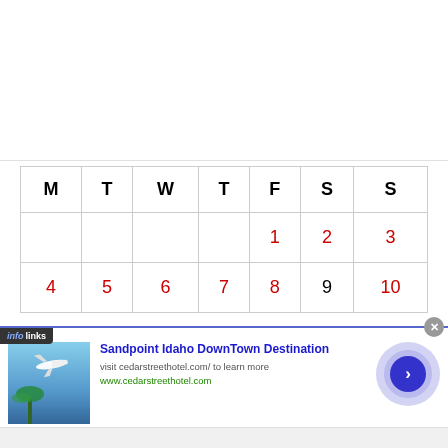| M | T | W | T | F | S | S |
| --- | --- | --- | --- | --- | --- | --- |
|  |  |  |  | 1 | 2 | 3 |
| 4 | 5 | 6 | 7 | 8 | 9 | 10 |
[Figure (screenshot): Infolinks advertisement banner for Sandpoint Idaho DownTown Destination - Cedar Street Hotel, with airplane/palm tree photo, blue arrow button, and close X button.]